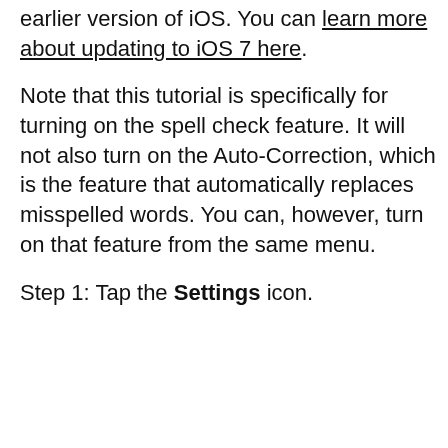earlier version of iOS. You can learn more about updating to iOS 7 here.
Note that this tutorial is specifically for turning on the spell check feature. It will not also turn on the Auto-Correction, which is the feature that automatically replaces misspelled words. You can, however, turn on that feature from the same menu.
Step 1: Tap the Settings icon.